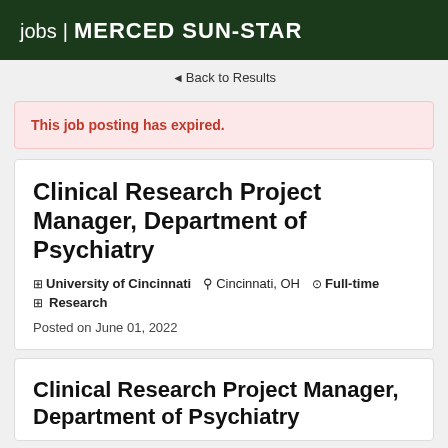jobs | MERCED SUN-STAR
◄ Back to Results
This job posting has expired.
Clinical Research Project Manager, Department of Psychiatry
University of Cincinnati  Cincinnati, OH  Full-time  Research
Posted on June 01, 2022
Clinical Research Project Manager, Department of Psychiatry